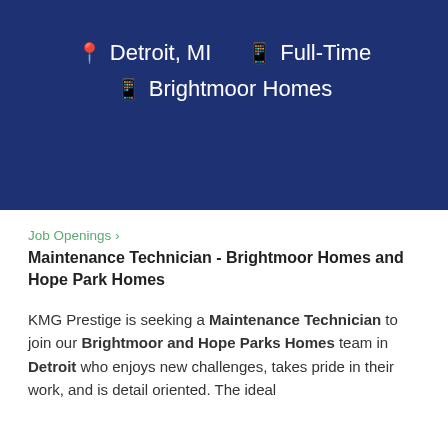📍 Detroit, MI  🏢 Full-Time  🏢 Brightmoor Homes
Job Openings ›
Maintenance Technician - Brightmoor Homes and Hope Park Homes
KMG Prestige is seeking a Maintenance Technician to join our Brightmoor and Hope Parks Homes team in Detroit who enjoys new challenges, takes pride in their work, and is detail oriented. The ideal